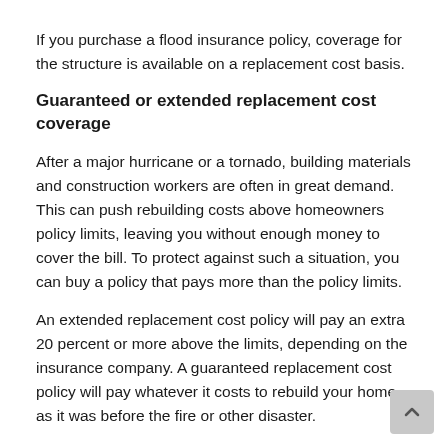If you purchase a flood insurance policy, coverage for the structure is available on a replacement cost basis.
Guaranteed or extended replacement cost coverage
After a major hurricane or a tornado, building materials and construction workers are often in great demand. This can push rebuilding costs above homeowners policy limits, leaving you without enough money to cover the bill. To protect against such a situation, you can buy a policy that pays more than the policy limits.
An extended replacement cost policy will pay an extra 20 percent or more above the limits, depending on the insurance company. A guaranteed replacement cost policy will pay whatever it costs to rebuild your home as it was before the fire or other disaster.